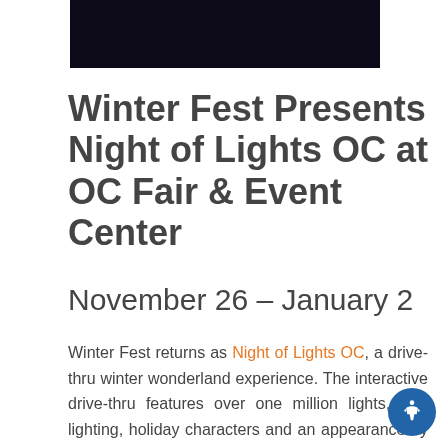[Figure (photo): Dark navy/black background image, partial view of a night scene]
Winter Fest Presents Night of Lights OC at OC Fair & Event Center
November 26 – January 2
Winter Fest returns as Night of Lights OC, a drive-thru winter wonderland experience. The interactive drive-thru features over one million lights, tree lighting, holiday characters and an appearance by Santa. It's a fun event